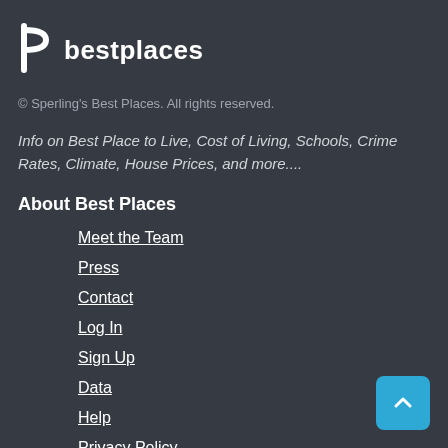[Figure (logo): bestplaces logo with stylized 'b' icon and text 'bestplaces' in white on dark background]
© Sperling's Best Places. All rights reserved.
Info on Best Place to Live, Cost of Living, Schools, Crime Rates, Climate, House Prices, and more....
About Best Places
Meet the Team
Press
Contact
Log In
Sign Up
Data
Help
Privacy Policy
Terms of Use